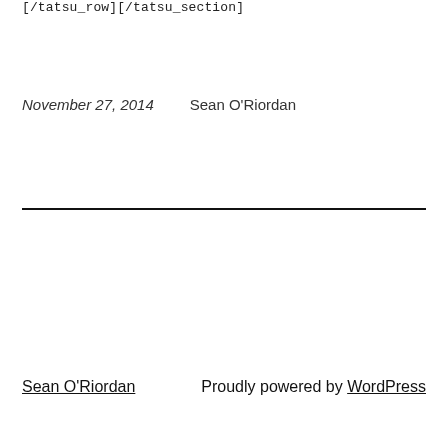[/tatsu_row][/tatsu_section]
November 27, 2014    Sean O'Riordan
Sean O'Riordan    Proudly powered by WordPress